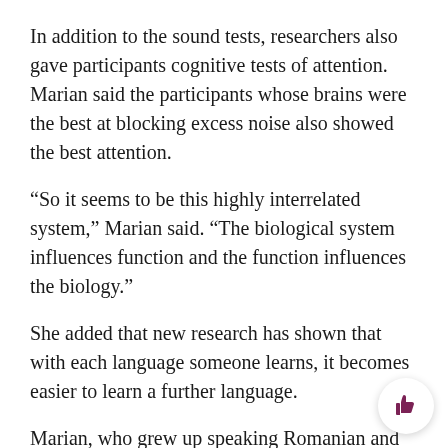In addition to the sound tests, researchers also gave participants cognitive tests of attention. Marian said the participants whose brains were the best at blocking excess noise also showed the best attention.
“So it seems to be this highly interrelated system,” Marian said. “The biological system influences function and the function influences the biology.”
She added that new research has shown that with each language someone learns, it becomes easier to learn a further language.
Marian, who grew up speaking Romanian and Russian and later learned English, said her future research will focus on people who have become bilingual later in life, such as during high school or college. She said she hopes that demographic changes in the United States will make bilingualism...